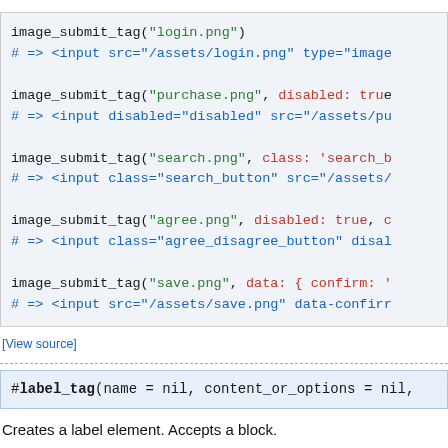[Figure (screenshot): Code block showing image_submit_tag examples with syntax highlighting. Black method names, green string arguments, red keyword arguments, blue comment lines.]
[View source]
[Figure (screenshot): Method signature block: #label_tag(name = nil, content_or_options = nil,]
Creates a label element. Accepts a block.